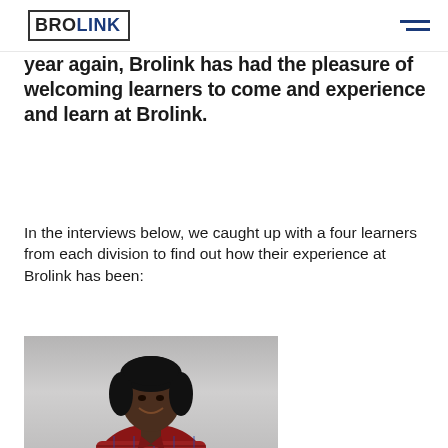BROLINK
year again, Brolink has had the pleasure of welcoming learners to come and experience and learn at Brolink.
In the interviews below, we caught up with a four learners from each division to find out how their experience at Brolink has been:
[Figure (photo): Photo of a young woman smiling, wearing a red plaid shirt, standing against a grey background]